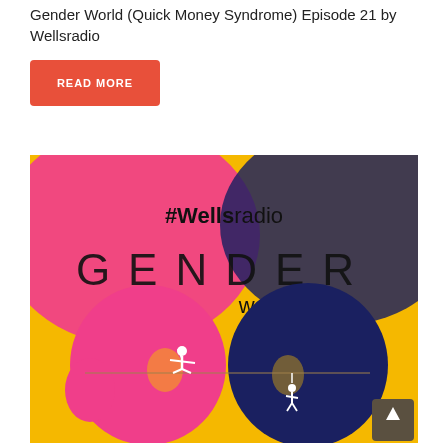Gender World (Quick Money Syndrome) Episode 21 by Wellsradio
READ MORE
[Figure (illustration): Colorful illustration for 'Gender World' podcast by Wellsradio. Background is yellow/gold with pink and dark navy gradient blobs. Text '#Wellsradio' and 'GENDER world' displayed large. Two silhouette heads face each other: left is pink (female) with a white figure walking a tightrope on top, right is dark navy (male) with a white hanging figure. A tightrope stretches between them.]